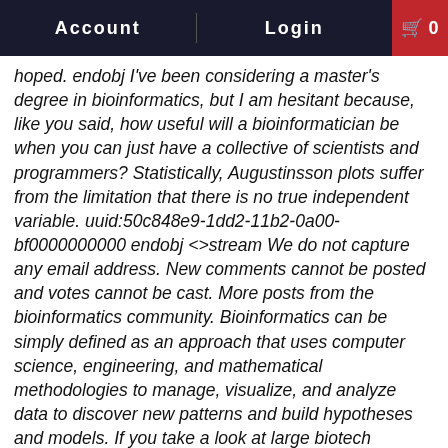Account   Login   🛒 0
hoped. endobj I've been considering a master's degree in bioinformatics, but I am hesitant because, like you said, how useful will a bioinformatician be when you can just have a collective of scientists and programmers? Statistically, Augustinsson plots suffer from the limitation that there is no true independent variable. uuid:50c848e9-1dd2-11b2-0a00-bf0000000000 endobj <>stream We do not capture any email address. New comments cannot be posted and votes cannot be cast. More posts from the bioinformatics community. Bioinformatics can be simply defined as an approach that uses computer science, engineering, and mathematical methodologies to manage, visualize, and analyze data to discover new patterns and build hypotheses and models. If you take a look at large biotech companies or academic research organizations, they are all regularly applying common bioinformatics methods, but primarily through the use of prebuilt tools. At some point we need to connect the dots to get a big picture.